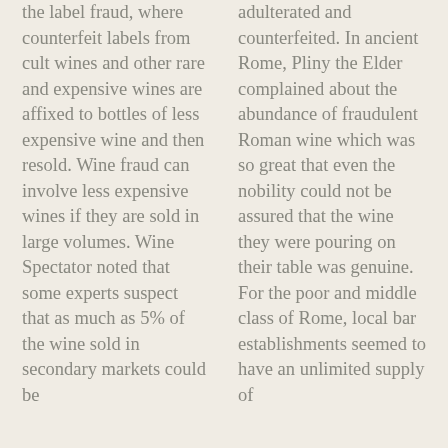the label fraud, where counterfeit labels from cult wines and other rare and expensive wines are affixed to bottles of less expensive wine and then resold. Wine fraud can involve less expensive wines if they are sold in large volumes. Wine Spectator noted that some experts suspect that as much as 5% of the wine sold in secondary markets could be
adulterated and counterfeited. In ancient Rome, Pliny the Elder complained about the abundance of fraudulent Roman wine which was so great that even the nobility could not be assured that the wine they were pouring on their table was genuine. For the poor and middle class of Rome, local bar establishments seemed to have an unlimited supply of